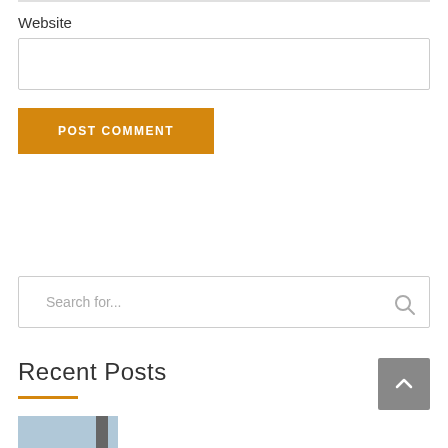Website
[Figure (screenshot): Empty website input text field with light gray border]
POST COMMENT
[Figure (screenshot): Search input field with placeholder text 'Search for...' and a search icon on the right]
Recent Posts
[Figure (screenshot): Partial thumbnail image strip at the bottom, light blue-gray color with dark section]